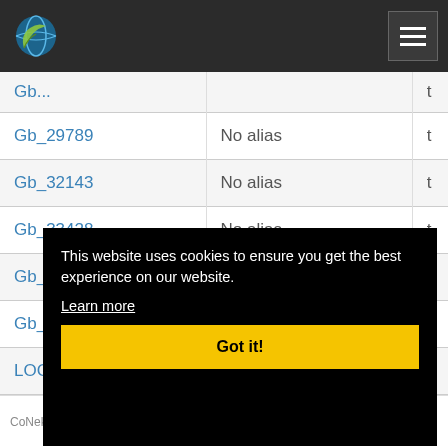CoNekT navigation logo and menu
| Gene ID | Alias | ... |
| --- | --- | --- |
| Gb_29789 | No alias | t |
| Gb_32143 | No alias | t |
| Gb_33428 | No alias | t |
| Gb_34086 | No alias | t |
| Gb_34882 | No alias | t |
| LOC... |  |  |
| LOC... |  |  |
| LOC... |  |  |
| LOC... |  |  |
This website uses cookies to ensure you get the best experience on our website. Learn more
CoNekT  About  Contact  Disclaimer  Privacy policy